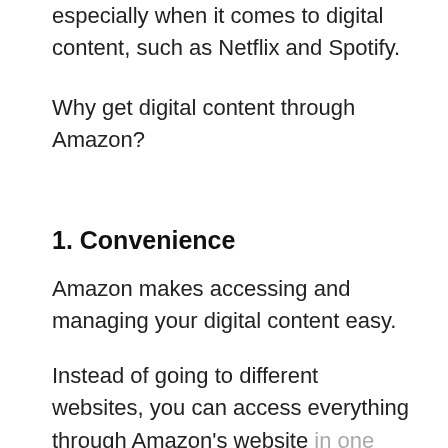especially when it comes to digital content, such as Netflix and Spotify.
Why get digital content through Amazon?
1. Convenience
Amazon makes accessing and managing your digital content easy.
Instead of going to different websites, you can access everything through Amazon's website in one convenient location.